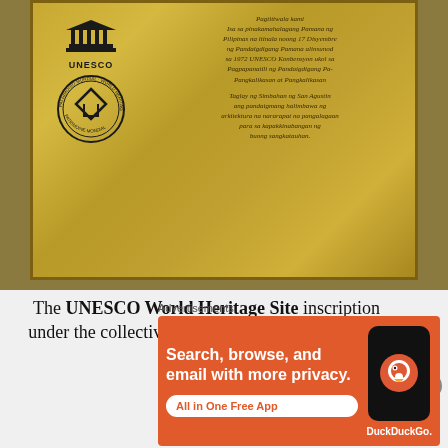[Figure (photo): A close-up photo of a weathered golden/brass plaque with the UNESCO World Heritage Site logo (including the World Heritage emblem circle and UNESCO temple logo) on the left side, and Filipino/Tagalog text engraved on the right side of the plaque.]
The UNESCO World Heritage Site inscription under the collective group of Baroque Churches of the Philippines...
Advertisements
[Figure (screenshot): DuckDuckGo advertisement banner with orange background. Text reads: 'Search, browse, and email with more privacy. All in One Free App' with a DuckDuckGo logo and phone graphic.]